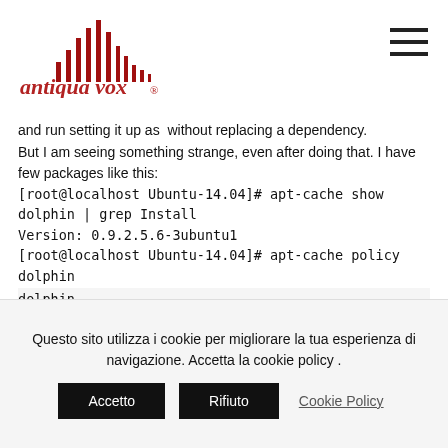antiqua vox
and run setting it up as  without replacing a dependency.
But I am seeing something strange, even after doing that. I have few packages like this:
[root@localhost Ubuntu-14.04]# apt-cache show dolphin | grep Install
Version: 0.9.2.5.6-3ubuntu1
[root@localhost Ubuntu-14.04]# apt-cache policy dolphin
dolphin:
dolphin:
Questo sito utilizza i cookie per migliorare la tua esperienza di navigazione. Accetta la cookie policy .
Accetto  Rifiuto  Cookie Policy